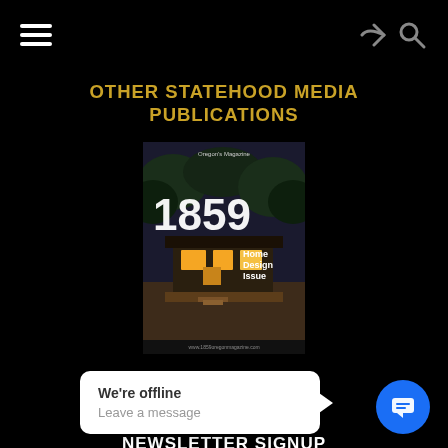navigation bar with hamburger menu and search/share icons
OTHER STATEHOOD MEDIA PUBLICATIONS
[Figure (photo): Magazine cover of '1859' Home Design Issue showing a tiny house with warm lighting at dusk]
ABOUT US
PRIVACY POLICY
NEWSLETTER SIGNUP
We're offline
Leave a message